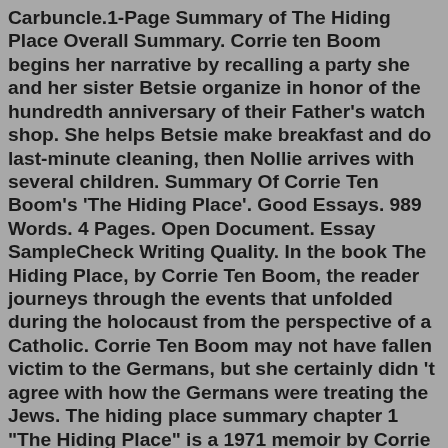Carbuncle.1-Page Summary of The Hiding Place Overall Summary. Corrie ten Boom begins her narrative by recalling a party she and her sister Betsie organize in honor of the hundredth anniversary of their Father's watch shop. She helps Betsie make breakfast and do last-minute cleaning, then Nollie arrives with several children. Summary Of Corrie Ten Boom's 'The Hiding Place'. Good Essays. 989 Words. 4 Pages. Open Document. Essay SampleCheck Writing Quality. In the book The Hiding Place, by Corrie Ten Boom, the reader journeys through the events that unfolded during the holocaust from the perspective of a Catholic. Corrie Ten Boom may not have fallen victim to the Germans, but she certainly didn 't agree with how the Germans were treating the Jews. The hiding place summary chapter 1 "The Hiding Place" is a 1971 memoir by Corrie ten Boom with John and Elizabeth Sherrill. The idea for the book came when the Sherrill's were writing another book on another hero of the holocaust and discovered